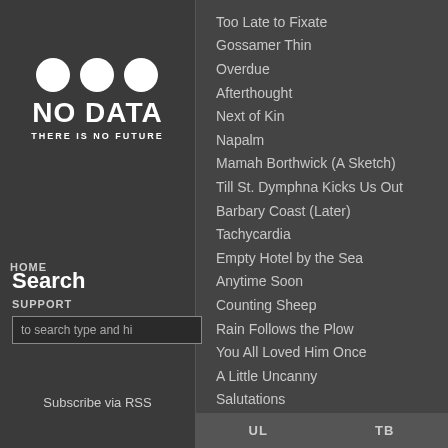[Figure (logo): NO DATA - THERE IS NO FUTURE logo with three white circles above bold white text]
HOME
Search
SUPPORT
to search type and hi
Subscribe via RSS
Too Late to Fixate
Gossamer Thin
Overdue
Afterthought
Next of Kin
Napalm
Mamah Borthwick (A Sketch)
Till St. Dymphna Kicks Us Out
Barbary Coast (Later)
Tachycardia
Empty Hotel by the Sea
Anytime Soon
Counting Sheep
Rain Follows the Plow
You All Loved Him Once
A Little Uncanny
Salutations
UL
TB